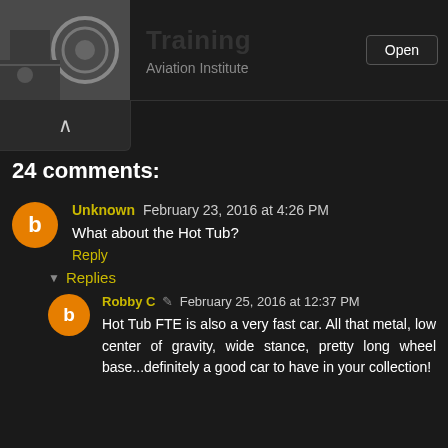Training — Aviation Institute
24 comments:
Unknown February 23, 2016 at 4:26 PM
What about the Hot Tub?
Reply
Replies
Robby C February 25, 2016 at 12:37 PM
Hot Tub FTE is also a very fast car. All that metal, low center of gravity, wide stance, pretty long wheel base...definitely a good car to have in your collection!